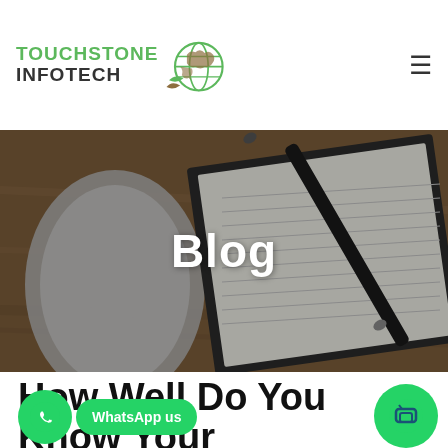[Figure (logo): Touchstone Infotech logo with globe icon, company name in green and dark text]
[Figure (photo): Hero banner photo showing a desk with a notebook, pen, and laptop on a wooden surface with semi-transparent dark overlay]
Blog
How Well Do You Know Your